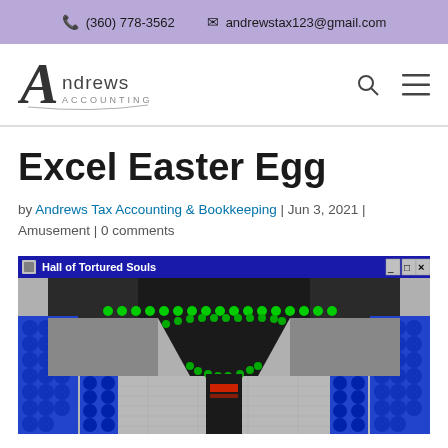(360) 778-3562  andrewstax123@gmail.com
[Figure (logo): Andrews Accounting logo with stylized script A and sans-serif text]
Excel Easter Egg
by Andrews Tax Accounting & Bookkeeping | Jun 3, 2021 | Amusement | 0 comments
[Figure (screenshot): Screenshot of Excel Easter Egg game titled 'Hall of Tortured Souls' showing a retro 3D game environment with blue and green elements]